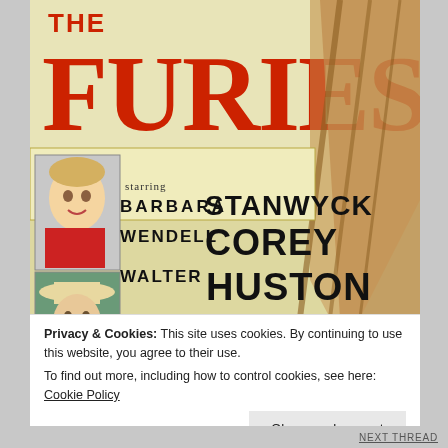[Figure (illustration): Movie poster for 'The Furies' showing large red title text at top, two portrait photos of actors (a woman with blonde hair in red clothing, and a man in a cowboy hat), and cast names in large black text: starring BARBARA STANWYCK, WENDELL COREY, WALTER HUSTON, with diagonal brown/gold graphic streaks on the right side against a cream/yellow background.]
Privacy & Cookies: This site uses cookies. By continuing to use this website, you agree to their use.
To find out more, including how to control cookies, see here: Cookie Policy
Close and accept
NEXT THREAD